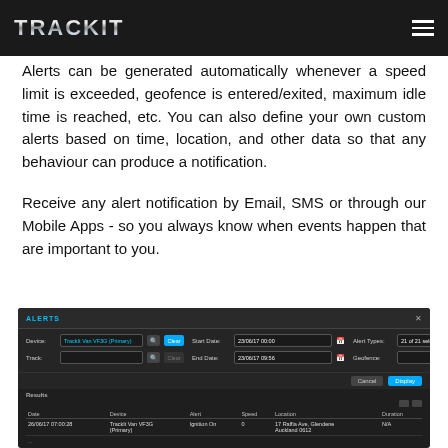TRACKIT
Alerts can be generated automatically whenever a speed limit is exceeded, geofence is entered/exited, maximum idle time is reached, etc. You can also define your own custom alerts based on time, location, and other data so that any behaviour can produce a notification.
Receive any alert notification by Email, SMS or through our Mobile Apps - so you always know when events happen that are important to you.
[Figure (screenshot): Screenshot of the TrackIt web application ALERTS dialog showing form fields for Device (TrackIt Van VF3G Primary), Track, Start Date (23/06/17 00:00), End Date (23/06/17 09:56), Alert Types (21 of 21 selected), Geofence, along with Cancel and Display buttons, and a results table with columns Date, Device, Alert, Speed, Location, Duration showing one row: 26/06/17 07:00:28, TrackIt Van VF3G (Primary), Ignition On, 0, 17 Raffia Ave Glendene Auckland 0612, N/A]